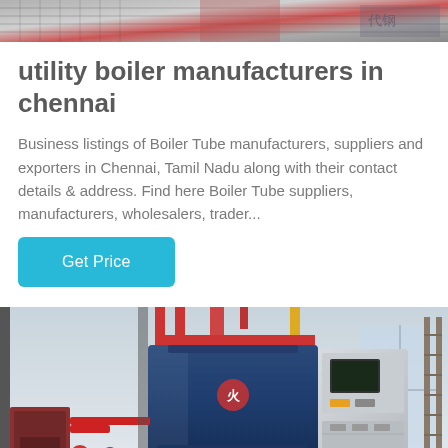[Figure (photo): Top portion of an industrial boiler or machinery image, partially visible at the top of the page]
utility boiler manufacturers in chennai
Business listings of Boiler Tube manufacturers, suppliers and exporters in Chennai, Tamil Nadu along with their contact details & address. Find here Boiler Tube suppliers, manufacturers, wholesalers, trader...
[Figure (other): Get Price button (cyan/teal colored button)]
[Figure (photo): Industrial boiler equipment photograph showing a large blue boiler unit with red piping, a silver control panel, and industrial warehouse interior]